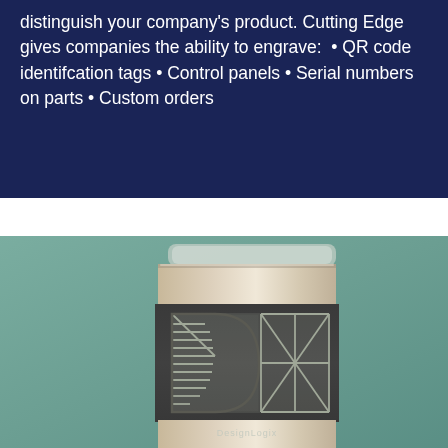distinguish your company's product. Cutting Edge gives companies the ability to engrave: • QR code identifcation tags • Control panels • Serial numbers on parts • Custom orders
[Figure (photo): A stainless steel tumbler with a dark rubberized band engraved with a geometric logo design resembling the letters 'DL' in a mosaic/tile style, on a teal/green background. The tumbler has a clear lid. The brand name 'DesignLogix' appears at the bottom of the engraved area.]